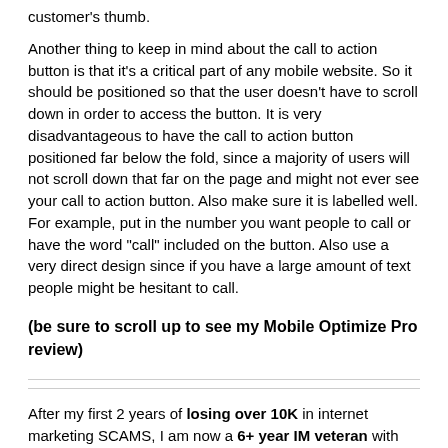customer's thumb.
Another thing to keep in mind about the call to action button is that it's a critical part of any mobile website. So it should be positioned so that the user doesn't have to scroll down in order to access the button. It is very disadvantageous to have the call to action button positioned far below the fold, since a majority of users will not scroll down that far on the page and might not ever see your call to action button. Also make sure it is labelled well. For example, put in the number you want people to call or have the word "call" included on the button. Also use a very direct design since if you have a large amount of text people might be hesitant to call.
(be sure to scroll up to see my Mobile Optimize Pro review)
After my first 2 years of losing over 10K in internet marketing SCAMS, I am now a 6+ year IM veteran with lots of experience building Niche Sites, Ecomm Stores & running PPC campaigns. I've made most of my money through Affiliate Marketing, Adsense & Infoproducts. I promise to provide lots of FREE VALUE from all my experience over the past decade!
[Figure (other): Small circular radio button / profile icon]